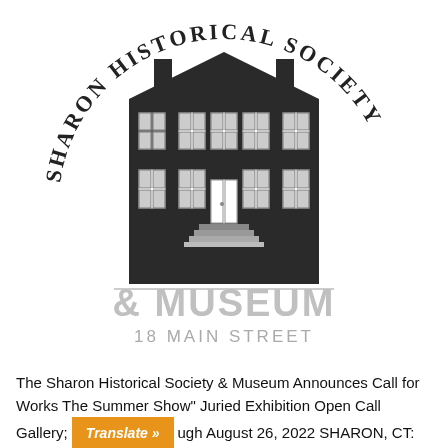[Figure (logo): Sharon Historical Society & Museum circular logo featuring a dark colonial building with arched text reading 'SHARON HISTORICAL SOCIETY' around the top, '& MUSEUM' in gray below, and '18 MAIN STREET' beneath that]
The Sharon Historical Society & Museum Announces Call for Works The Summer Show" Juried Exhibition Open Call Gallery through August 26, 2022 SHARON, CT: The